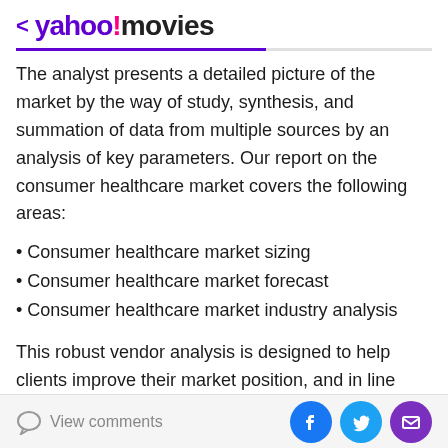< yahoo!movies
The analyst presents a detailed picture of the market by the way of study, synthesis, and summation of data from multiple sources by an analysis of key parameters. Our report on the consumer healthcare market covers the following areas:
• Consumer healthcare market sizing
• Consumer healthcare market forecast
• Consumer healthcare market industry analysis
This robust vendor analysis is designed to help clients improve their market position, and in line with this, this report provides a detailed analysis of several leading consumer healthcare market vendors that include
View comments